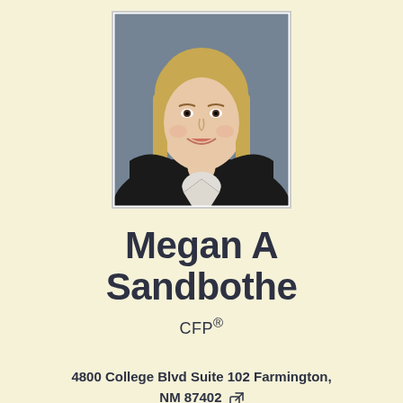[Figure (photo): Professional headshot of Megan A Sandbothe, a woman with blonde hair wearing a black blazer and pearl necklace, against a gray background]
Megan A Sandbothe
CFP®
4800 College Blvd Suite 102 Farmington, NM 87402